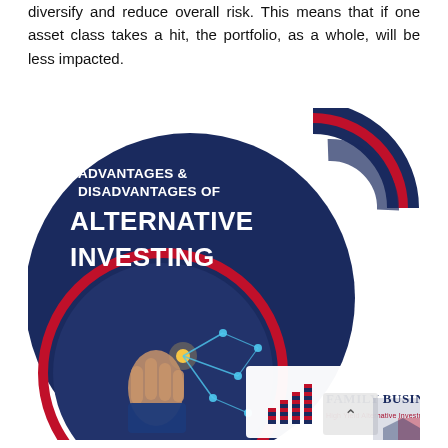diversify and reduce overall risk. This means that if one asset class takes a hit, the portfolio, as a whole, will be less impacted.
[Figure (infographic): Infographic titled 'Advantages & Disadvantages of Alternative Investing' with a large dark navy blue circular background, bold white text, a red-bordered circle with a hand pointing at glowing network nodes, decorative quotation mark graphic in navy/red on the right side, and a Family Business Fund logo with bar chart icon at the bottom right.]